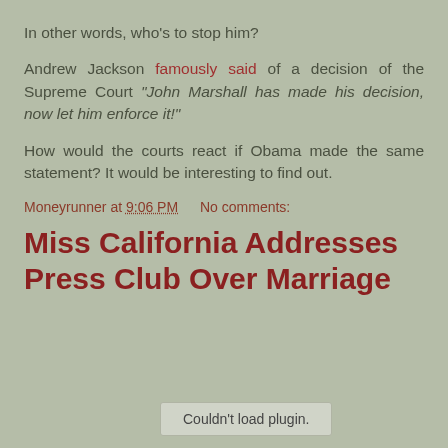In other words, who's to stop him?
Andrew Jackson famously said of a decision of the Supreme Court “John Marshall has made his decision, now let him enforce it!”
How would the courts react if Obama made the same statement? It would be interesting to find out.
Moneyrunner at 9:06 PM    No comments:
Miss California Addresses Press Club Over Marriage
Couldn't load plugin.